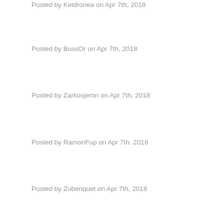Posted by Keldronea on Apr 7th, 2018
Posted by BossOr on Apr 7th, 2018
Posted by Zarkosjemn on Apr 7th, 2018
Posted by RamonFup on Apr 7th, 2018
Posted by Zubenquet on Apr 7th, 2018
Posted by Ronarcen on Apr 7th, 2018
Posted by Alisn on Apr 7th, 2018
Posted by Cruzgep on Apr 7th, 2018
Posted by Stejnarcisa on Apr 7th, 2018
Posted by Hernandomect on Apr 7th, 2018
Posted by Yespastox on Apr 7th, 2018
Posted by Tizgarhell on Apr 7th, 2018